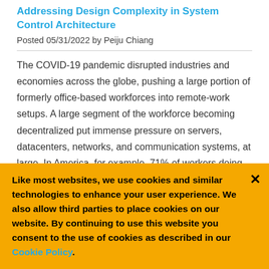Addressing Design Complexity in System Control Architecture
Posted 05/31/2022 by Peiju Chiang
The COVID-19 pandemic disrupted industries and economies across the globe, pushing a large portion of formerly office-based workforces into remote-work setups. A large segment of the workforce becoming decentralized put immense pressure on servers, datacenters, networks, and communication systems, at large. In America, for example, 71% of workers doing their jobs from home all or most of the time put a strain on
Like most websites, we use cookies and similar technologies to enhance your user experience. We also allow third parties to place cookies on our website. By continuing to use this website you consent to the use of cookies as described in our Cookie Policy.